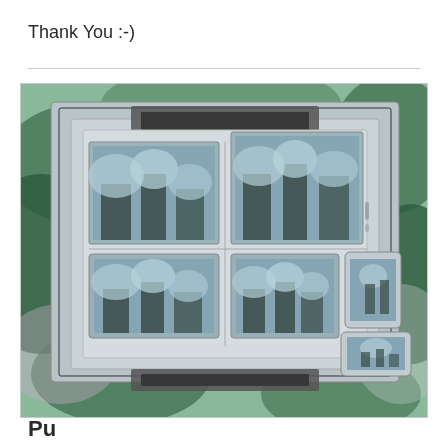Thank You :-)
[Figure (illustration): A composite image showing multiple screens (monitors, tablets, smartphones) displaying tree/park scenes in a teal/green color-filtered style, arranged in a layered display mockup with dark and silver frame elements on a green background.]
Pu